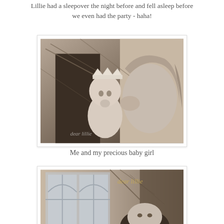Lillie had a sleepover the night before and fell asleep before we even had the party - haha!
[Figure (photo): Black and white photo of a mother kissing a baby girl wearing a sparkly crown, with branches in the background and a watermark reading 'dear lillie']
Me and my precious baby girl
[Figure (photo): Black and white photo showing a woman with dark hair looking up, in front of a window with arched panes, branches, and a 'dear lillie' watermark in gold script]